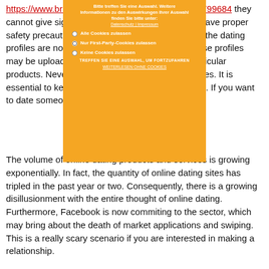https://www.brides.com/creative-wedding-ideas-4799684 they cannot give significant safety info. Others do not have proper safety precautions in place. Additionally , some of the dating profiles are not manufactured by real people. These profiles may be upload by promoters to increase their particular products. Never try to associate with dating services. It is essential to keep personal information confidential. If you want to date someone, it must be safe.
[Figure (screenshot): Cookie consent overlay in German with orange/amber background. Title: 'Bitte treffen Sie eine Auswahl. Weitere Informationen zu den Auswirkungen Ihrer Auswahl finden Sie bitte unter: Datenschutz | Impressum'. Three radio options: 'Alle Cookies zulassen', 'Nur First-Party-Cookies zulassen', 'Keine Cookies zulassen'. Button text: 'TREFFEN SIE EINE AUSWAHL, UM FORTZUFAHREN' and link 'WEITERLESEN OHNE COOKIES'.]
The volume of online dating products and services is growing exponentially. In fact, the quantity of online dating sites has tripled in the past year or two. Consequently, there is a growing disillusionment with the entire thought of online dating. Furthermore, Facebook is now commiting to the sector, which may bring about the death of market applications and swiping. This is a really scary scenario if you are interested in making a relationship.